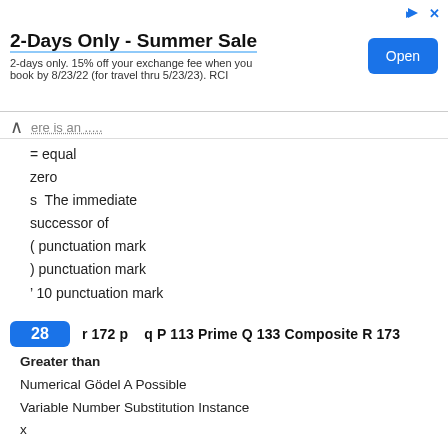[Figure (other): Advertisement banner: '2-Days Only - Summer Sale' with Open button]
ere is an .....
= equal
zero
s  The immediate successor of
( punctuation mark
) punctuation mark
' 10 punctuation mark
28   r 172 p    q P 113 Prime Q 133 Composite R 173
Greater than
Numerical Gödel A Possible
Variable Number Substitution Instance
x
y 13 s0
z y
Sentential Gödel A Possible